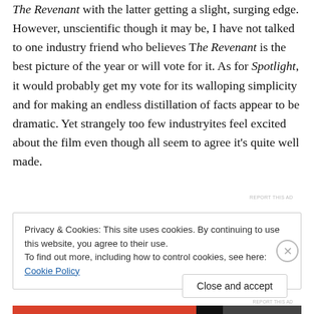The Revenant with the latter getting a slight, surging edge. However, unscientific though it may be, I have not talked to one industry friend who believes The Revenant is the best picture of the year or will vote for it. As for Spotlight, it would probably get my vote for its walloping simplicity and for making an endless distillation of facts appear to be dramatic. Yet strangely too few industryites feel excited about the film even though all seem to agree it's quite well made.
REPORT THIS AD
Privacy & Cookies: This site uses cookies. By continuing to use this website, you agree to their use.
To find out more, including how to control cookies, see here: Cookie Policy
Close and accept